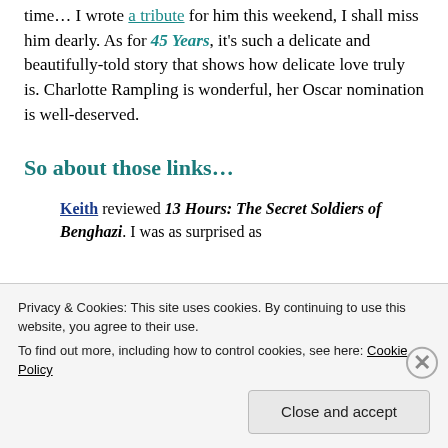time… I wrote a tribute for him this weekend, I shall miss him dearly. As for 45 Years, it's such a delicate and beautifully-told story that shows how delicate love truly is. Charlotte Rampling is wonderful, her Oscar nomination is well-deserved.
So about those links…
Keith reviewed 13 Hours: The Secret Soldiers of Benghazi. I was as surprised as
Privacy & Cookies: This site uses cookies. By continuing to use this website, you agree to their use. To find out more, including how to control cookies, see here: Cookie Policy